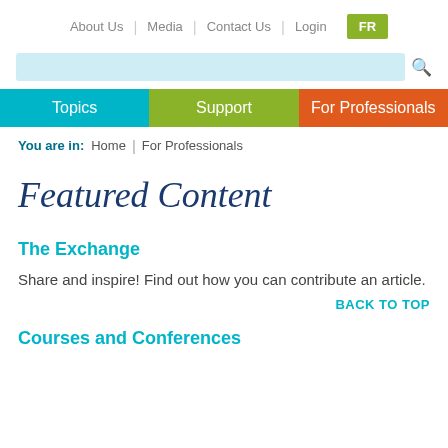About Us | Media | Contact Us | Login | FR
[Figure (screenshot): Search bar with light blue background and magnifying glass icon]
Topics | Support | For Professionals
You are in: Home | For Professionals
Featured Content
The Exchange
Share and inspire! Find out how you can contribute an article.
BACK TO TOP
Courses and Conferences